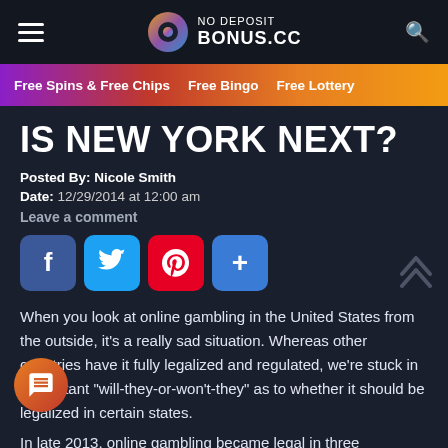NO DEPOSIT BONUS.CC
Free Spins & Free Chips | Free Bingo | Free Lottery
IS NEW YORK NEXT?
Posted By: Nicole Smith
Date: 12/29/2014 at 12:00 am
Leave a comment
[Figure (infographic): Social sharing buttons: Facebook, Twitter, Pinterest, More]
When you look at online gambling in the United States from the outside, it's a really sad situation. Whereas other countries have it fully legalized and regulated, we're stuck in a constant "will-they-or-won't-they" as to whether it should be legalized in certain states.
In late 2013, online gambling became legal in three